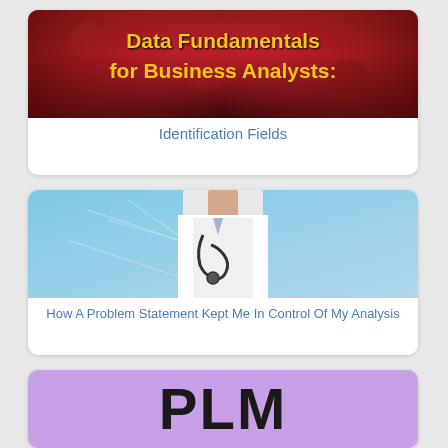[Figure (illustration): Book cover image with dark red/maroon gradient background and bold yellow title text reading 'Data Fundamentals for Business Analysts:']
Data Fundamentals for Business Analysts:
Identification Fields
[Figure (photo): Photo of a medical professional in a white coat with a stethoscope, against a light blue background with network graphics overlay]
How A Problem Statement Kept Me In Control Of My Analysis
[Figure (illustration): Partial view of a lavender/purple background with large bold black letters 'PLM' visible]